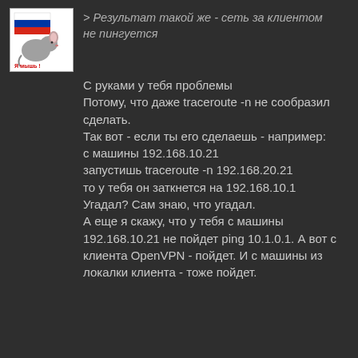[Figure (illustration): Avatar image with Russian flag and cartoon mouse with text 'Я мышь!']
> Результат такой же - сеть за клиентом не пингуется
С руками у тебя проблемы
Потому, что даже traceroute -n не сообразил сделать.
Так вот - если ты его сделаешь - например: с машины 192.168.10.21 запустишь traceroute -n 192.168.20.21 то у тебя он заткнется на 192.168.10.1
Угадал? Сам знаю, что угадал.
А еще я скажу, что у тебя с машины 192.168.10.21 не пойдет ping 10.1.0.1. А вот с клиента OpenVPN - пойдет. И с машины из локалки клиента - тоже пойдет.